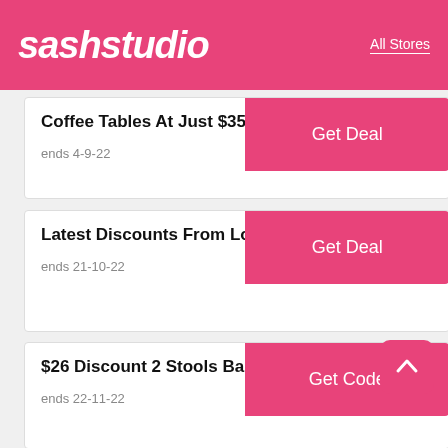sashstudio — All Stores
Coffee Tables At Just $35.38 At LovDock
ends 4-9-22
Latest Discounts From Lovdock
ends 21-10-22
$26 Discount 2 Stools Bar-Lounge Chair
ends 22-11-22